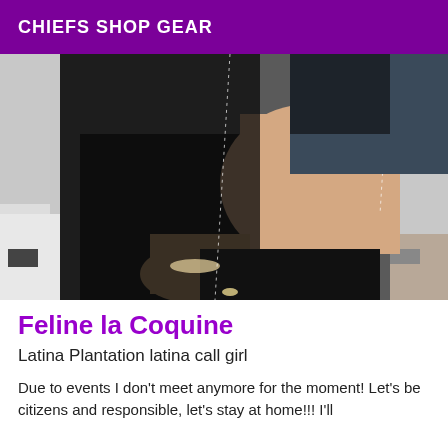CHIEFS SHOP GEAR
[Figure (photo): A person wearing a black sequined dress with black thigh-high stockings, posing indoors.]
Feline la Coquine
Latina Plantation latina call girl
Due to events I don't meet anymore for the moment! Let's be citizens and responsible, let's stay at home!!! I'll